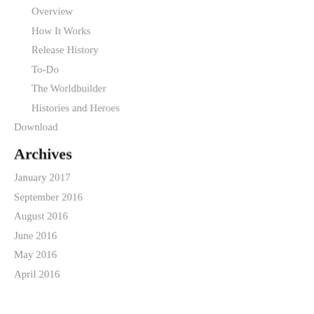Overview
How It Works
Release History
To-Do
The Worldbuilder
Histories and Heroes
Download
Archives
January 2017
September 2016
August 2016
June 2016
May 2016
April 2016